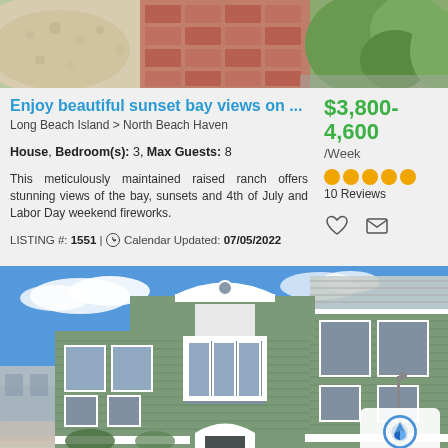[Figure (photo): Top partial photo showing outdoor path with gravel, brick pavers and green shrubs]
Enjoy beautiful sunset bay views on ...
Long Beach Island > North Beach Haven
$3,800-4,600 /Week
House, Bedroom(s): 3, Max Guests: 8
This meticulously maintained raised ranch offers stunning views of the bay, sunsets and 4th of July and Labor Day weekend fireworks.
10 Reviews
LISTING #: 1551 | Calendar Updated: 07/05/2022
[Figure (photo): Exterior photo of a two-story green-sided raised ranch house with white trim against a blue sky]